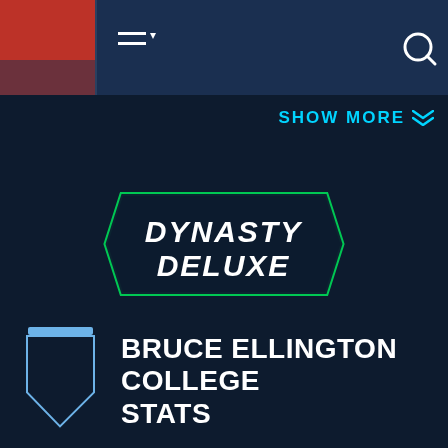[Figure (screenshot): Navigation bar with player photo, hamburger menu icon, and search icon on dark blue background]
SHOW MORE
[Figure (logo): Dynasty Deluxe logo — white angular text on dark background with green border outline forming a badge shape]
Access Bruce Ellington's Dynasty ADP and Lifetime Value Rating
BRUCE ELLINGTON COLLEGE STATS